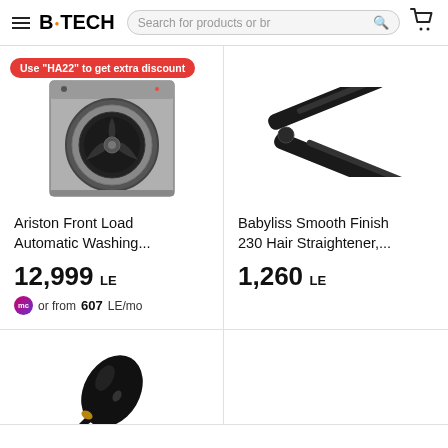B.TECH — Search for products or br
[Figure (photo): Ariston front load washing machine, silver/gray with black drum door]
Ariston Front Load Automatic Washing...
12,999 LE
or from 607 LE/mo
[Figure (photo): Babyliss Smooth Finish 230 hair straightener, black flat iron]
Babyliss Smooth Finish 230 Hair Straightener,...
1,260 LE
[Figure (photo): Black hair dryer partially visible at bottom of page]